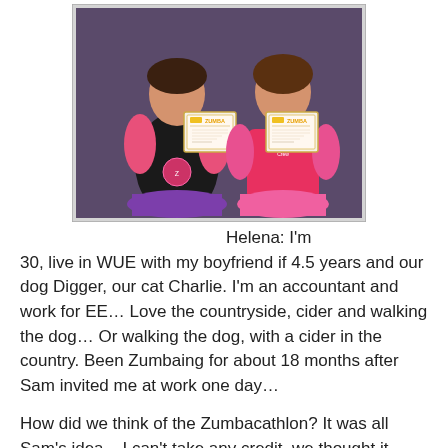[Figure (photo): Two women in Zumba attire (one in black with purple tutu, one in pink with pink tutu) each holding Zumba certificates]
Helena: I'm 30, live in WUE with my boyfriend if 4.5 years and our dog Digger, our cat Charlie. I'm an accountant and work for EE... Love the countryside, cider and walking the dog... Or walking the dog, with a cider in the country. Been Zumbaing for about 18 months after Sam invited me at work one day...
How did we think of the Zumbacathlon? It was all Sam's idea – I can't take any credit, we thought it would be a great way to raise more money. People have been so generous, more than I ever thought. We also pestered all our work colleagues and promised them photos and tutus if we raised more than £ 500 – they responded well